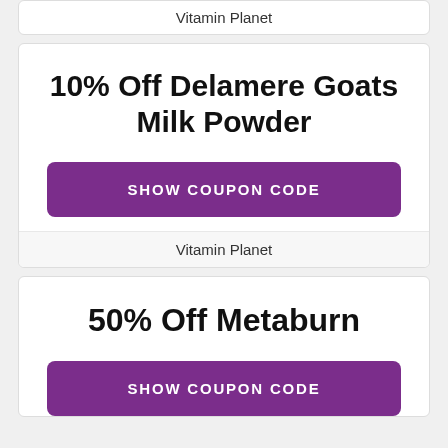Vitamin Planet
10% Off Delamere Goats Milk Powder
SHOW COUPON CODE
Vitamin Planet
50% Off Metaburn
SHOW COUPON CODE